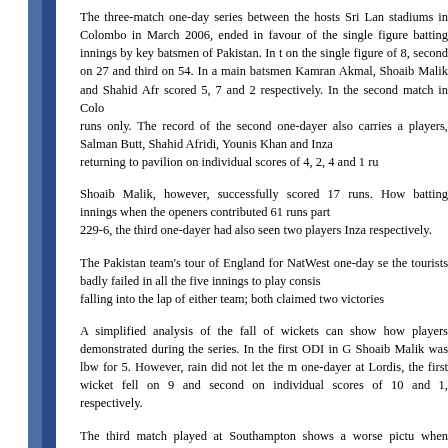The three-match one-day series between the hosts Sri Lanka and Pakistan, played at two stadiums in Colombo in March 2006, ended in favour of the hosts, mainly due to the single figure batting innings by key batsmen of Pakistan. In the first match, Pakistan were on the single figure of 8, second on 27 and third on 54. In a dazzling display of batting, main batsmen Kamran Akmal, Shoaib Malik and Shahid Afridi unfortunately could only scored 5, 7 and 2 respectively. In the second match in Colombo, the openers contributed 0 runs only. The record of the second one-dayer also carries a record of four leading players, Salman Butt, Shahid Afridi, Younis Khan and Inzamam returning to pavilion on individual scores of 4, 2, 4 and 1 runs respectively.
Shoaib Malik, however, successfully scored 17 runs. However, it was a positive batting innings when the openers contributed 61 runs partnership and scored a total of 229-6, the third one-dayer had also seen two players Inza scoring 9 and 12 respectively.
The Pakistan team's tour of England for NatWest one-day series was also disappointing as the tourists badly failed in all the five innings to play consistently. The series ended with falling into the lap of either team; both claimed two victories.
A simplified analysis of the fall of wickets can show how inconsistently the key Pakistan players demonstrated during the series. In the first ODI in Chester-le-Street, the opener Shoaib Malik was lbw for 5. However, rain did not let the match complete. In the second one-dayer at Lordis, the first wicket fell on 9 and second on 10 with the batsmen scoring individual scores of 10 and 1, respectively.
The third match played at Southampton shows a worse picture of batting performance when Shoaib Malik could score only 1 run, and Afridi and Akmal... its first wicket in the fourth match, played at Trent Bridge, Hafeen, Younis and Shoaib Malik failed to reach double f...